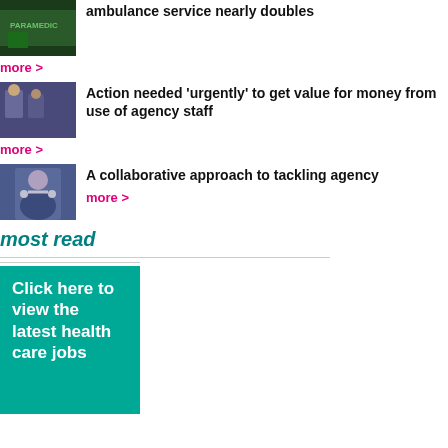[Figure (photo): Paramedic in green uniform]
ambulance service nearly doubles
more >
[Figure (photo): Medical staff in hospital corridor]
Action needed 'urgently' to get value for money from use of agency staff
more >
[Figure (photo): Doctor/nurse in blue scrubs with stethoscope]
A collaborative approach to tackling agency
more >
most read
[Figure (illustration): Click here to view the latest health care jobs advertisement banner]